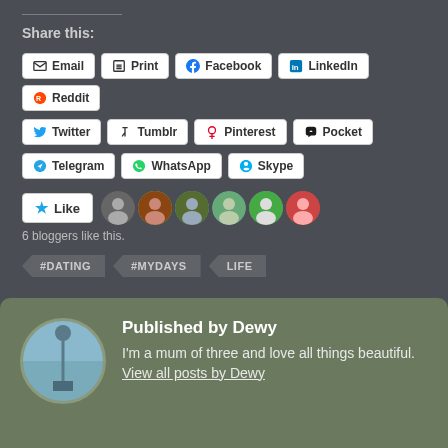Share this:
Email
Print
Facebook
LinkedIn
Reddit
Twitter
Tumblr
Pinterest
Pocket
Telegram
WhatsApp
Skype
6 bloggers like this.
#DATING  #MYDAYS  LIFE
Published by Dewy
I'm a mum of three and love all things beautiful. View all posts by Dewy